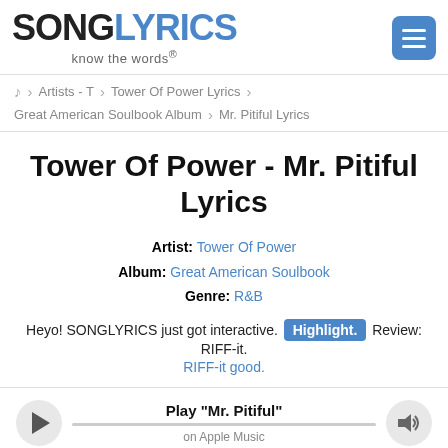SONGLYRICS know the words®
Artists - T  >  Tower Of Power Lyrics
Great American Soulbook Album  >  Mr. Pitiful Lyrics
Tower Of Power - Mr. Pitiful Lyrics
Artist: Tower Of Power
Album: Great American Soulbook
Genre: R&B
Heyo! SONGLYRICS just got interactive. Highlight. Review: RIFF-it. RIFF-it good.
Play "Mr. Pitiful" on Apple Music